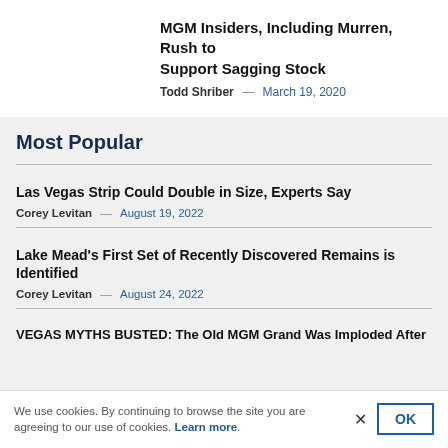MGM Insiders, Including Murren, Rush to Support Sagging Stock
Todd Shriber — March 19, 2020
Most Popular
Las Vegas Strip Could Double in Size, Experts Say
Corey Levitan — August 19, 2022
Lake Mead's First Set of Recently Discovered Remains is Identified
Corey Levitan — August 24, 2022
VEGAS MYTHS BUSTED: The Old MGM Grand Was Imploded After
We use cookies. By continuing to browse the site you are agreeing to our use of cookies. Learn more.